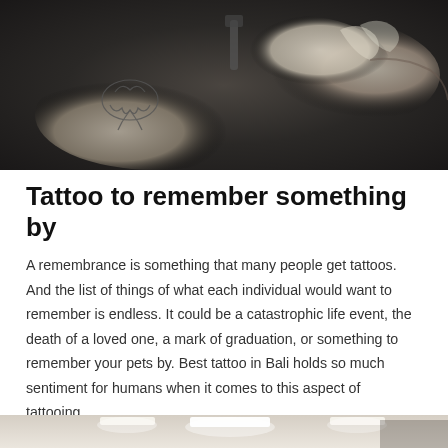[Figure (photo): Close-up photograph of a tattoo artist's gloved hands applying a tattoo to someone's wrist/hand, showing a floral/botanical tattoo design being inked]
Tattoo to remember something by
A remembrance is something that many people get tattoos. And the list of things of what each individual would want to remember is endless. It could be a catastrophic life event, the death of a loved one, a mark of graduation, or something to remember your pets by. Best tattoo in Bali holds so much sentiment for humans when it comes to this aspect of tattooing.
[Figure (photo): Interior photo of a tattoo studio showing a clean modern room with recessed ceiling lights]